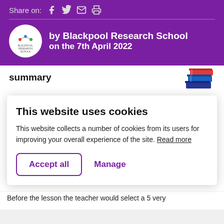Share on:
by Blackpool Research School on the 7th April 2022
summary
This website uses cookies
This website collects a number of cookies from its users for improving your overall experience of the site. Read more
Accept all    Manage
Before the lesson the teacher would select a 5 very